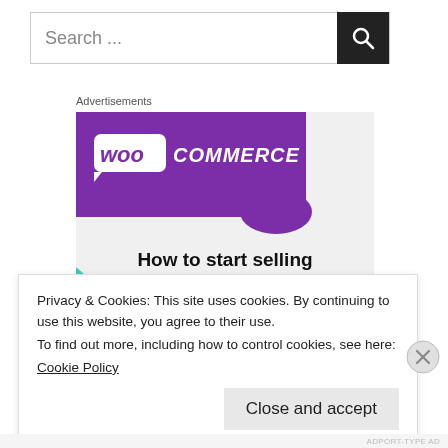Search ...
Advertisements
[Figure (illustration): WooCommerce advertisement banner showing the WooCommerce logo on a purple background with green and blue geometric shapes, and text 'How to start selling subscriptions online']
Privacy & Cookies: This site uses cookies. By continuing to use this website, you agree to their use.
To find out more, including how to control cookies, see here:
Cookie Policy
Close and accept